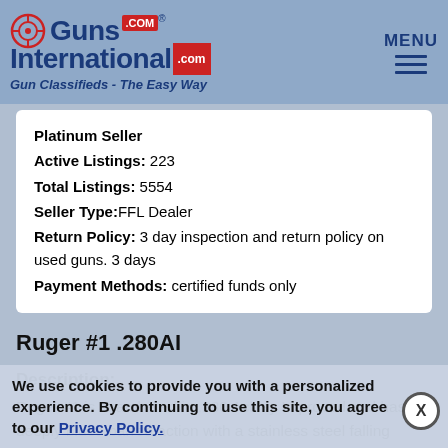GunsInternational.com - Gun Classifieds - The Easy Way
| Platinum Seller |
| Active Listings: | 223 |
| Total Listings: | 5554 |
| Seller Type: | FFL Dealer |
| Return Policy: | 3 day inspection and return policy on used guns. 3 days |
| Payment Methods: | certified funds only |
Ruger #1 .280AI
Description:
Ruger #1 is chambered in .280 Ackley Improved and has a deeply blued barred action with a stainless steel falling block.  The barrel has flip up iron sights and a barrel band.  The forend and stock are wooden and have a nice grain to them.  Sling studs and a rubber recoil pad are installed, along with a blued grip cap.  This is a classy rifle that is great for hunting, plinking, or collecting.  This rifle is part of a special run and is hard to come by.
We use cookies to provide you with a personalized experience. By continuing to use this site, you agree to our Privacy Policy.